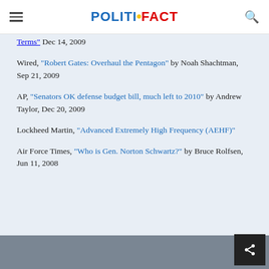POLITIFACT
Terms" Dec 14, 2009
Wired, "Robert Gates: Overhaul the Pentagon" by Noah Shachtman, Sep 21, 2009
AP, "Senators OK defense budget bill, much left to 2010" by Andrew Taylor, Dec 20, 2009
Lockheed Martin, "Advanced Extremely High Frequency (AEHF)"
Air Force Times, "Who is Gen. Norton Schwartz?" by Bruce Rolfsen, Jun 11, 2008